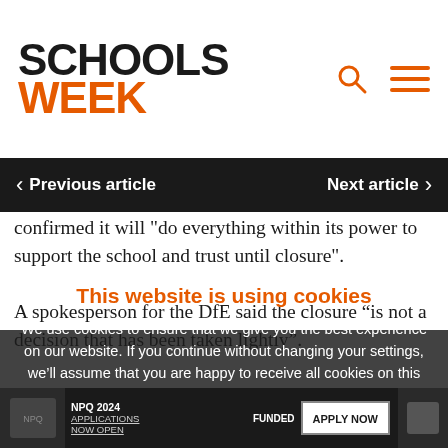SCHOOLS WEEK
confirmed it will "do everything within its power to support the school and trust until closure".
A spokesperson for the DfE said the closure “is not a decision that has been taken lightly”.
“Our priority is to ensure that pupils continue to receive a strong education, and the trust and local authority are working to put appropriate Schools Week analysis on school closures last
This website is using cookies
We use cookies to ensure that we give you the best experience on our website. If you continue without changing your settings, we’ll assume that you are happy to receive all cookies on this website.
Accept | Learn More
NPQ 2024 APPLICATIONS NOW OPEN FUNDED APPLY NOW